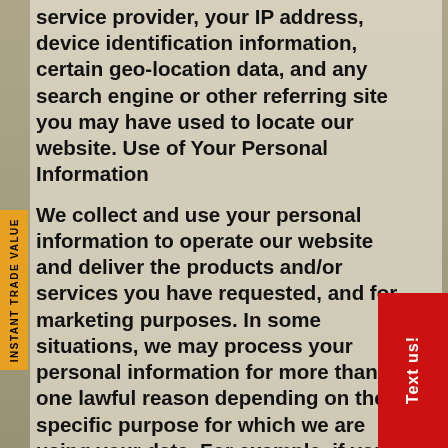service provider, your IP address, device identification information, certain geo-location data, and any search engine or other referring site you may have used to locate our website. Use of Your Personal Information
We collect and use your personal information to operate our website and deliver the products and/or services you have requested, and for marketing purposes. In some situations, we may process your personal information for more than one lawful reason depending on the specific purpose for which we are using your data. For example, if you complete an online purchase, we may collect your information to perform our contract with you, but we may also maintain your information after your transaction is complete so that we can quickly and easily respond to any questions about your order. As a result, our collection and processing of your personal information is based upon your consent, our need to perform a contract, our obligations under law, and/or our legitimate interest in